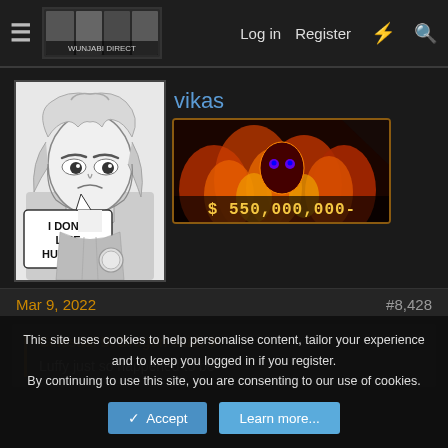Log in  Register
vikas
[Figure (illustration): Manga-style black and white illustration of a character with long light hair saying 'I DON'T LIKE HUMANS!']
[Figure (illustration): Colorful fire-themed illustration with text '$ 550,000,000-' showing a character in flames]
Mar 9, 2022
#8,428
Celestial D. Dragon said:
Luffy just so happened to be
This site uses cookies to help personalise content, tailor your experience and to keep you logged in if you register.
By continuing to use this site, you are consenting to our use of cookies.
Accept   Learn more...